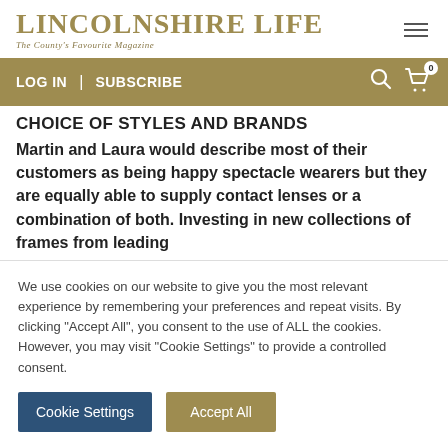LINCOLNSHIRE LIFE
The County's Favourite Magazine
CHOICE OF STYLES AND BRANDS
Martin and Laura would describe most of their customers as being happy spectacle wearers but they are equally able to supply contact lenses or a combination of both. Investing in new collections of frames from leading
We use cookies on our website to give you the most relevant experience by remembering your preferences and repeat visits. By clicking "Accept All", you consent to the use of ALL the cookies. However, you may visit "Cookie Settings" to provide a controlled consent.
Cookie Settings | Accept All